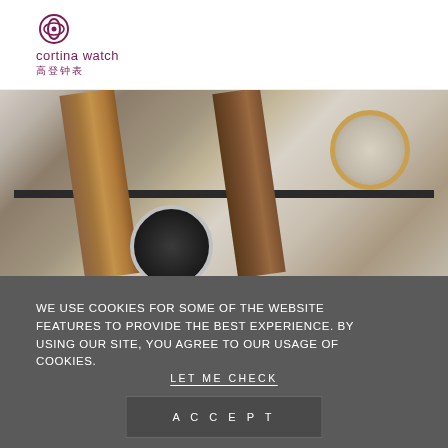[Figure (logo): Cortina Watch logo with decorative icon, brand name in maroon/purple, and Chinese characters 高登钟表]
[Figure (photo): Close-up photo of two luxury chronograph watches with leather straps (one brown, one dark) displayed against a light background]
WE USE COOKIES FOR SOME OF THE WEBSITE FEATURES TO PROVIDE THE BEST EXPERIENCE. BY USING OUR SITE, YOU AGREE TO OUR USAGE OF COOKIES.
LET ME CHECK
ACCEPT